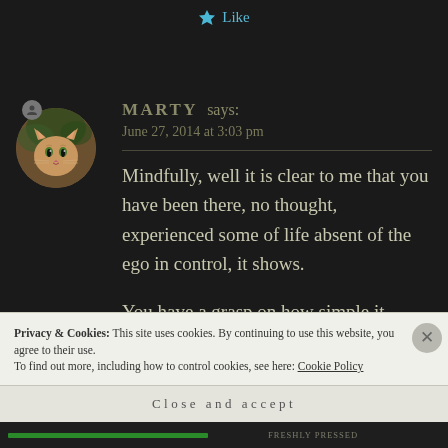Like
MARTY says:
June 27, 2014 at 3:03 pm
Mindfully, well it is clear to me that you have been there, no thought, experienced some of life absent of the ego in control, it shows.
You have a grasp on how simple it
Privacy & Cookies: This site uses cookies. By continuing to use this website, you agree to their use.
To find out more, including how to control cookies, see here: Cookie Policy
Close and accept